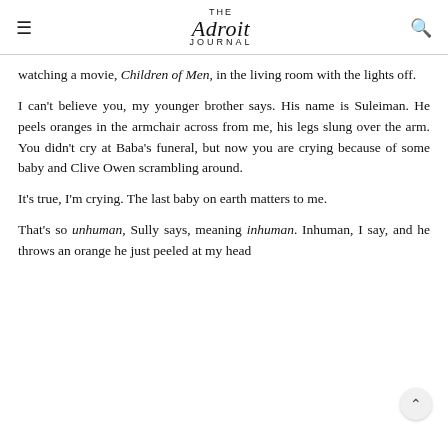The Adroit Journal
watching a movie, Children of Men, in the living room with the lights off.
I can't believe you, my younger brother says. His name is Suleiman. He peels oranges in the armchair across from me, his legs slung over the arm. You didn't cry at Baba's funeral, but now you are crying because of some baby and Clive Owen scrambling around.
It's true, I'm crying. The last baby on earth matters to me.
That's so unhuman, Sully says, meaning inhuman. Inhuman, I say, and he throws an orange he just peeled at my head
A next sentence at the bottom of the television and head Sully...